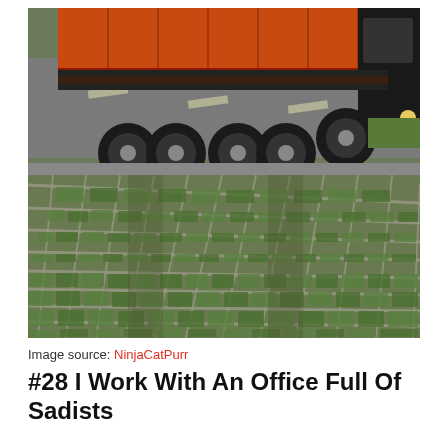[Figure (photo): Outdoor photo showing a large orange semi-truck/trailer with multiple axles on a road. In the foreground is a grass-covered grid paving surface (grass pavers/ecology blocks) with a grid pattern of concrete squares filled with grass.]
Image source: NinjaCatPurr
#28 I Work With An Office Full Of Sadists